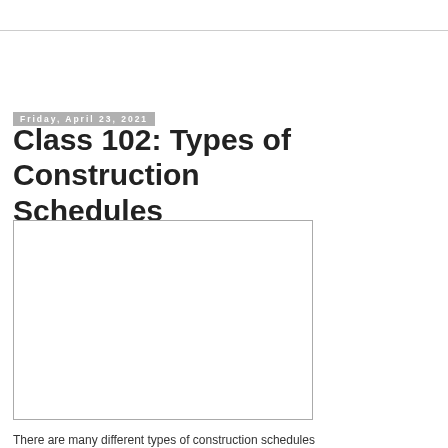Friday, April 23, 2021
Class 102: Types of Construction Schedules
[Figure (photo): Empty white image placeholder box with light gray border]
There are many different types of construction schedules